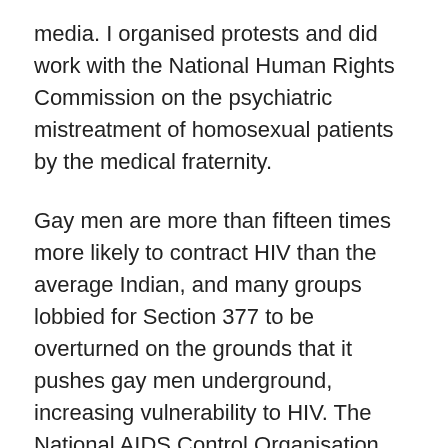media. I organised protests and did work with the National Human Rights Commission on the psychiatric mistreatment of homosexual patients by the medical fraternity.
Gay men are more than fifteen times more likely to contract HIV than the average Indian, and many groups lobbied for Section 377 to be overturned on the grounds that it pushes gay men underground, increasing vulnerability to HIV. The National AIDS Control Organisation (NACO), the governmental leading the response to the epidemic in India, came out against Section 377 in 2006, arguing that the law made HIV prevention more difficult. The then Health Minister of India Shri Anbumani Ramadoss and many AIDS organisations, including the India HIV/AIDS Alliance where I now work as a Director, also called for the law to be abolished in order